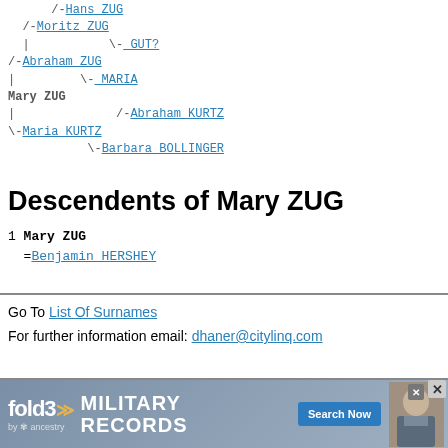[Figure (other): Genealogy ancestor chart (pedigree tree) showing ancestors of Mary ZUG, including Hans ZUG, Moritz ZUG, GUT?, Abraham ZUG, MARIA, Abraham KURTZ, Maria KURTZ, Barbara BOLLINGER]
Descendents of Mary ZUG
1 Mary ZUG
  =Benjamin HERSHEY
Go To List Of Surnames
For further information email: dhaner@citylinq.com
[Figure (other): fold3 by Ancestry advertisement banner for Military Records with Search Now button]